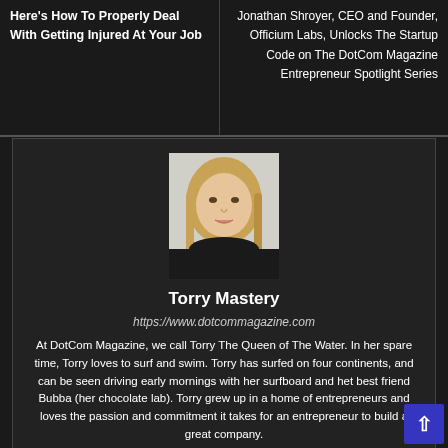Here's How To Properly Deal With Getting Injured At Your Job
Jonathan Shroyer, CEO and Founder, Officium Labs, Unlocks The Startup Code on The DotCom Magazine Entrepreneur Spotlight Series
[Figure (photo): Portrait photo of Torry Mastery, a woman with long blonde hair wearing a dark top, against a light background]
Torry Mastery
https://www.dotcommagazine.com
At DotCom Magazine, we call Torry The Queen of The Water. In her spare time, Torry loves to surf and swim. Torry has surfed on four continents, and can be seen driving early mornings with her surfboard and het best friend Bubba (her chocolate lab). Torry grew up in a home of entrepreneurs and loves the passion and commitment it takes for an entrepreneur to build a great company.